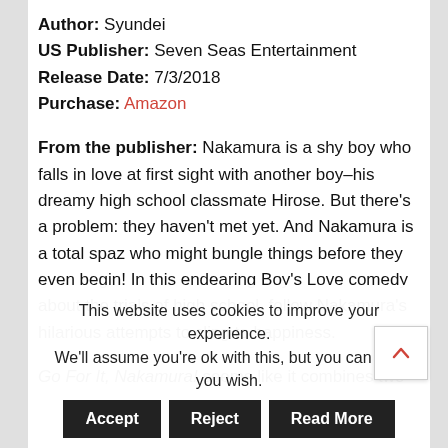Author: Syundei
US Publisher: Seven Seas Entertainment
Release Date: 7/3/2018
Purchase: Amazon
From the publisher: Nakamura is a shy boy who falls in love at first sight with another boy–his dreamy high school classmate Hirose. But there's a problem: they haven't met yet. And Nakamura is a total spaz who might bungle things before they even begin! In this endearing Boy's Love comedy about the trials of high school, follow Nakamura's hilarious attempts to cling to happiness.
Go For It, Nakamura! seems like it combines two
This website uses cookies to improve your experience. We'll assume you're ok with this, but you can opt- you wish.
Accept
Reject
Read More